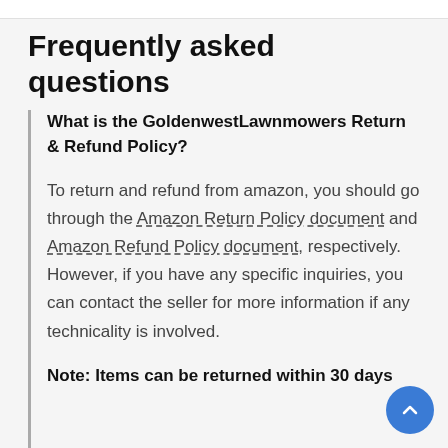Frequently asked questions
What is the GoldenwestLawnmowers Return & Refund Policy?
To return and refund from amazon, you should go through the Amazon Return Policy document and Amazon Refund Policy document, respectively. However, if you have any specific inquiries, you can contact the seller for more information if any technicality is involved.
Note: Items can be returned within 30 days